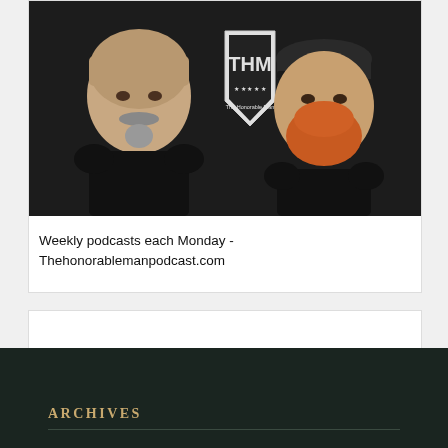[Figure (photo): Two men against a dark background with a THM (The Honorable Man) shield logo between them. Left man is bald with a gray mustache and goatee, wearing black. Right man has a red beard and wears a black cap, also in black. Dark textured background.]
Weekly podcasts each Monday - Thehonorablemanpodcast.com
ARCHIVES